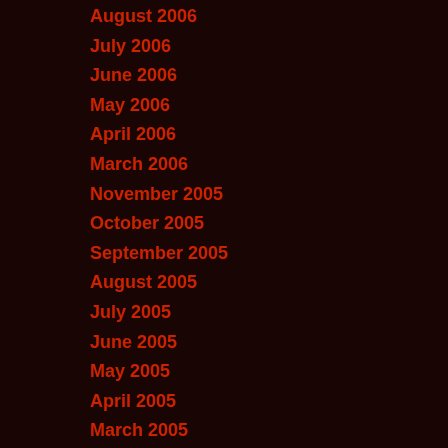August 2006
July 2006
June 2006
May 2006
April 2006
March 2006
November 2005
October 2005
September 2005
August 2005
July 2005
June 2005
May 2005
April 2005
March 2005